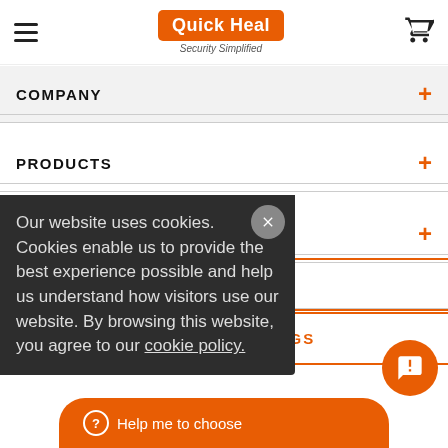[Figure (logo): Quick Heal logo with orange badge and 'Security Simplified' tagline, hamburger menu on left, shopping cart on right]
COMPANY
PRODUCTS
SUPPORT
RENEW NOW
QUICK HEAL BLOGS
Our website uses cookies. Cookies enable us to provide the best experience possible and help us understand how visitors use our website. By browsing this website, you agree to our cookie policy.
Help me to choose